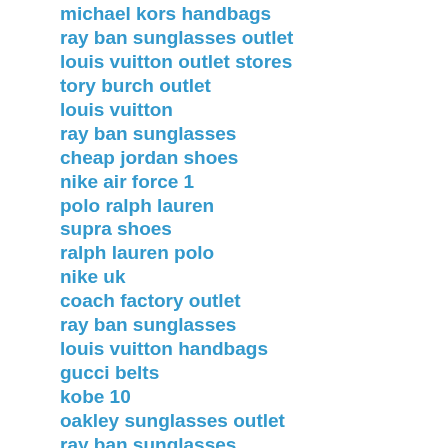michael kors handbags
ray ban sunglasses outlet
louis vuitton outlet stores
tory burch outlet
louis vuitton
ray ban sunglasses
cheap jordan shoes
nike air force 1
polo ralph lauren
supra shoes
ralph lauren polo
nike uk
coach factory outlet
ray ban sunglasses
louis vuitton handbags
gucci belts
kobe 10
oakley sunglasses outlet
ray ban sunglasses
oakley vault
ghd hair straighteners
oakley sunglasses
fitflops sale clearance